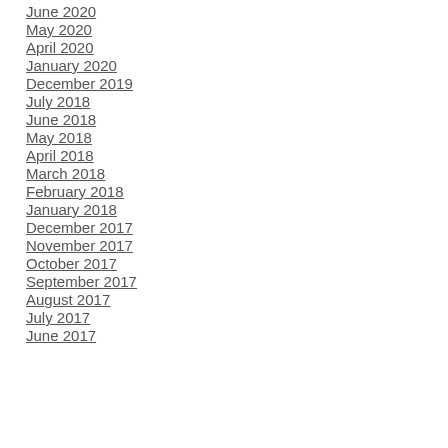June 2020
May 2020
April 2020
January 2020
December 2019
July 2018
June 2018
May 2018
April 2018
March 2018
February 2018
January 2018
December 2017
November 2017
October 2017
September 2017
August 2017
July 2017
June 2017